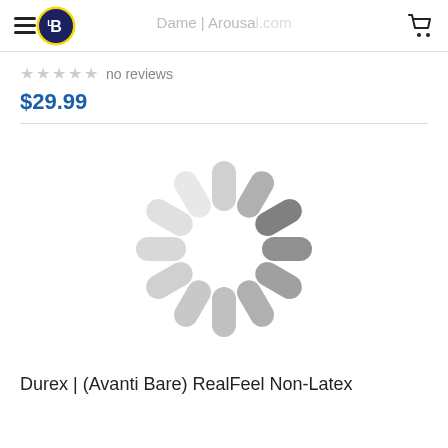Dame | Arousal.com
no reviews
$29.99
[Figure (other): Loading spinner - circular arrangement of rounded pill shapes in varying shades of gray indicating a loading state]
Durex | (Avanti Bare) RealFeel Non-Latex